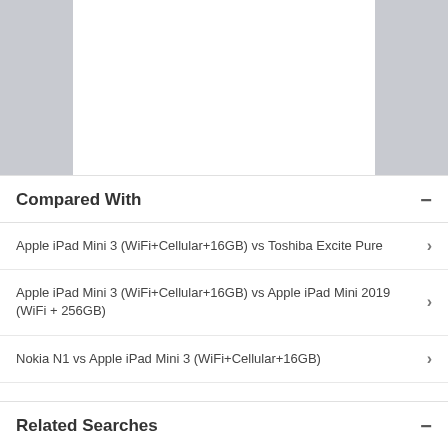[Figure (screenshot): White rectangular content box on grey background at top of page]
Compared With
Apple iPad Mini 3 (WiFi+Cellular+16GB) vs Toshiba Excite Pure
Apple iPad Mini 3 (WiFi+Cellular+16GB) vs Apple iPad Mini 2019 (WiFi + 256GB)
Nokia N1 vs Apple iPad Mini 3 (WiFi+Cellular+16GB)
Xiaomi Mi Pad 4 vs Apple iPad Mini 3 (WiFi+Cellular+16GB)
Apple iPad Mini 3 (WiFi+Cellular+16GB) vs Lenovo Yoga Tab 3 Plus
Related Searches